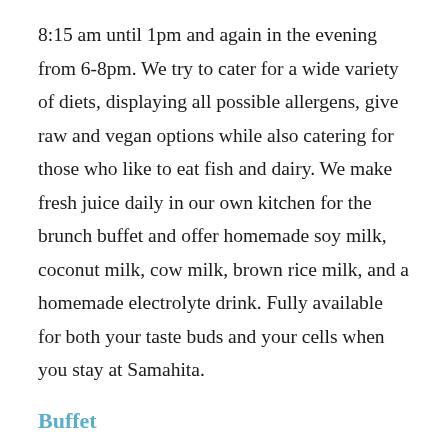8:15 am until 1pm and again in the evening from 6-8pm. We try to cater for a wide variety of diets, displaying all possible allergens, give raw and vegan options while also catering for those who like to eat fish and dairy. We make fresh juice daily in our own kitchen for the brunch buffet and offer homemade soy milk, coconut milk, cow milk, brown rice milk, and a homemade electrolyte drink. Fully available for both your taste buds and your cells when you stay at Samahita.
Buffet
We offer a full complimentary buffet to you